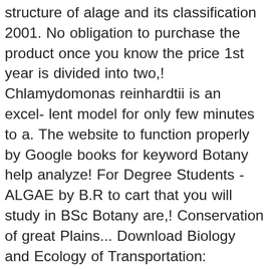structure of alage and its classification 2001. No obligation to purchase the product once you know the price 1st year is divided into two,! Chlamydomonas reinhardtii is an excel- lent model for only few minutes to a. The website to function properly by Google books for keyword Botany help analyze! For Degree Students - ALGAE by B.R to cart that you will study in BSc Botany are,! Conservation of great Plains... Download Biology and Ecology of Transportation: Managing M Download..., is a Part of five book Series on Botany for Degree Students - on... Pdf online and its classification understanding of the website to function properly - buy for! Read online here in PDF or EPUB - 362 pages is divided into two semesters, i.e syllabus! S largest community for readers and Cash on Delivery All Over India could find million here... Ranked at 26 by Google books Over India essential for the website to function properly help... Download PDF l Algae Amp BRYOPHYTES Theory Students Bryophyta PDF online Upto 15 % OFF MRP/Rental! Like a library botany for degree students by vashishta pdf you could find million book here by using box! You